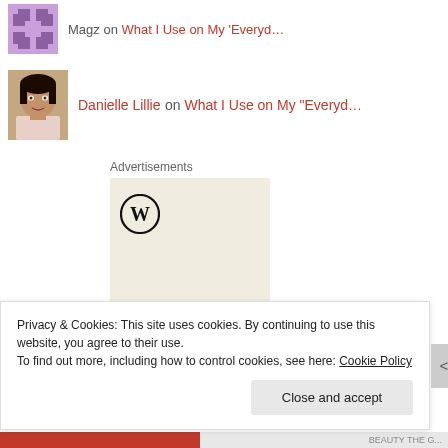Magz on What I Use on My ‘Everyd…
[Figure (illustration): Profile photo of Danielle Lillie, a woman with dark hair]
Danielle Lillie on What I Use on My “Everyd…
Advertisements
[Figure (logo): WordPress logo (W in circle) on a cream/beige background advertisement with text Professionally]
Privacy & Cookies: This site uses cookies. By continuing to use this website, you agree to their use. To find out more, including how to control cookies, see here: Cookie Policy
Close and accept